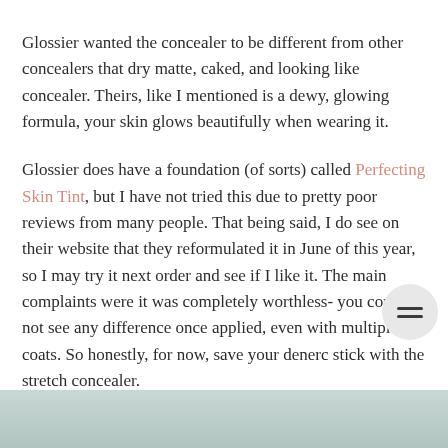Glossier wanted the concealer to be different from other concealers that dry matte, caked, and looking like concealer. Theirs, like I mentioned is a dewy, glowing formula, your skin glows beautifully when wearing it.
Glossier does have a foundation (of sorts) called Perfecting Skin Tint, but I have not tried this due to pretty poor reviews from many people. That being said, I do see on their website that they reformulated it in June of this year, so I may try it next order and see if I like it. The main complaints were it was completely worthless- you could not see any difference once applied, even with multiple coats. So honestly, for now, save your denerc stick with the stretch concealer.
[Figure (photo): Partial image strip at the bottom of the page showing a blurred/muted outdoor or product scene]